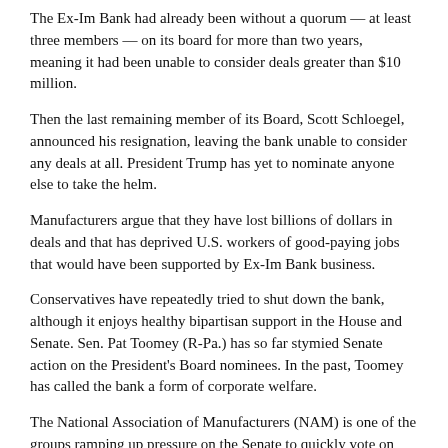The Ex-Im Bank had already been without a quorum — at least three members — on its board for more than two years, meaning it had been unable to consider deals greater than $10 million.
Then the last remaining member of its Board, Scott Schloegel, announced his resignation, leaving the bank unable to consider any deals at all. President Trump has yet to nominate anyone else to take the helm.
Manufacturers argue that they have lost billions of dollars in deals and that has deprived U.S. workers of good-paying jobs that would have been supported by Ex-Im Bank business.
Conservatives have repeatedly tried to shut down the bank, although it enjoys healthy bipartisan support in the House and Senate. Sen. Pat Toomey (R-Pa.) has so far stymied Senate action on the President's Board nominees. In the past, Toomey has called the bank a form of corporate welfare.
The National Association of Manufacturers (NAM) is one of the groups ramping up pressure on the Senate to quickly vote on four nominees to get the Export-Import Bank back up and running at full speed.
The four nominees — Kimberly Reed, Spencer Bachus, Judith Pryor